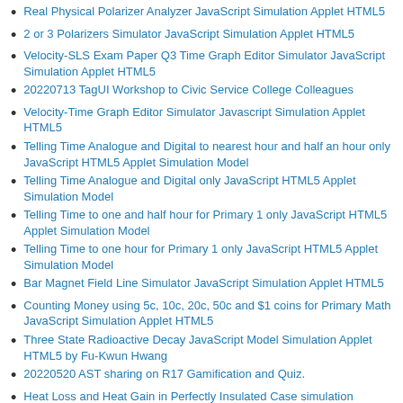Real Physical Polarizer Analyzer JavaScript Simulation Applet HTML5
2 or 3 Polarizers Simulator JavaScript Simulation Applet HTML5
Velocity-SLS Exam Paper Q3 Time Graph Editor Simulator JavaScript Simulation Applet HTML5
20220713 TagUI Workshop to Civic Service College Colleagues
Velocity-Time Graph Editor Simulator Javascript Simulation Applet HTML5
Telling Time Analogue and Digital to nearest hour and half an hour only JavaScript HTML5 Applet Simulation Model
Telling Time Analogue and Digital only JavaScript HTML5 Applet Simulation Model
Telling Time to one and half hour for Primary 1 only JavaScript HTML5 Applet Simulation Model
Telling Time to one hour for Primary 1 only JavaScript HTML5 Applet Simulation Model
Bar Magnet Field Line Simulator JavaScript Simulation Applet HTML5
Counting Money using 5c, 10c, 20c, 50c and $1 coins for Primary Math JavaScript Simulation Applet HTML5
Three State Radioactive Decay JavaScript Model Simulation Applet HTML5 by Fu-Kwun Hwang
20220520 AST sharing on R17 Gamification and Quiz.
Heat Loss and Heat Gain in Perfectly Insulated Case simulation Primary School HTML5 Applet JavaScript